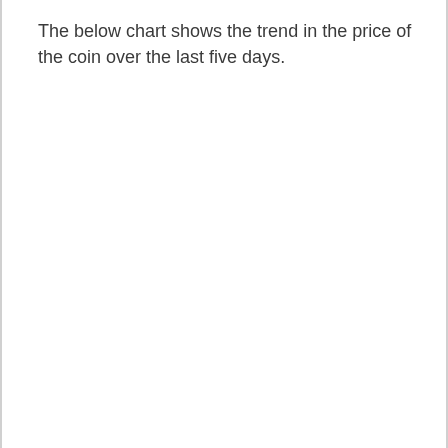The below chart shows the trend in the price of the coin over the last five days.